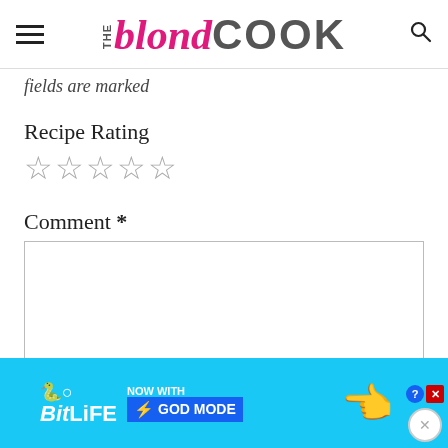THE blond COOK
fields are marked
Recipe Rating
☆☆☆☆☆
Comment *
[Figure (screenshot): Comment text area input box (empty)]
[Figure (screenshot): BitLife advertisement banner: 'BitLife NOW WITH GOD MODE' with lightning bolt icon and hand graphic]